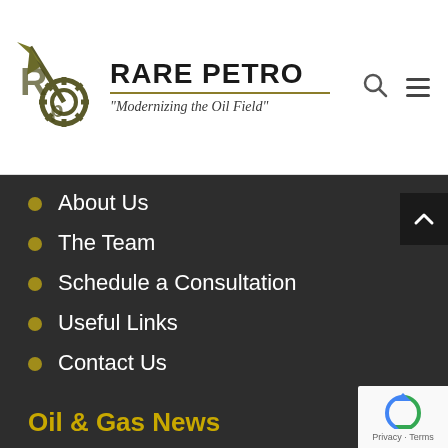[Figure (logo): Rare Petro logo with pickaxe and gear symbol, text 'RARE PETRO' and tagline 'Modernizing the Oil Field']
About Us
The Team
Schedule a Consultation
Useful Links
Contact Us
Oil & Gas News
Basin Reports